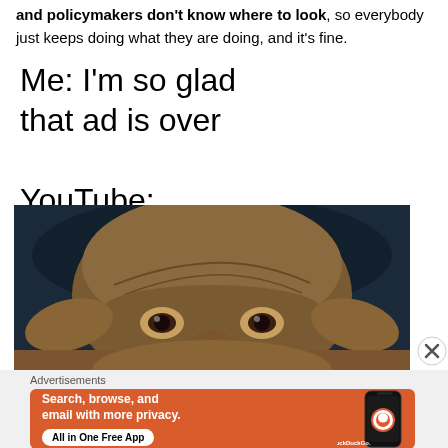and policymakers don't know where to look, so everybody just keeps doing what they are doing, and it's fine.
Me: I'm so glad that ad is over

YouTube:
[Figure (photo): Meme image showing Yoda's eyes peeking up from below, close-up shot with dark blue background, commonly used as a reaction meme.]
[Figure (screenshot): DuckDuckGo advertisement banner on orange background. Text: 'Search, browse, and email with more privacy. All in One Free App' with DuckDuckGo logo and phone mockup.]